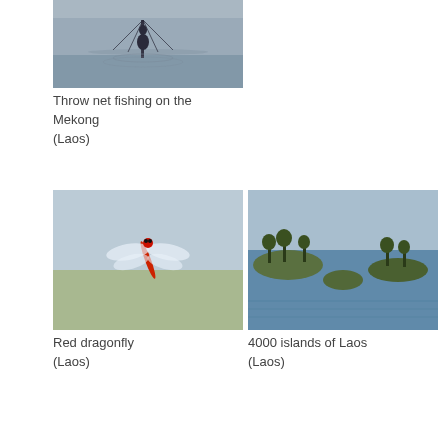[Figure (photo): Throw net fishing on the Mekong river at dusk, Laos]
Throw net fishing on the Mekong
(Laos)
[Figure (photo): Red dragonfly, Laos]
Red dragonfly
(Laos)
[Figure (photo): 4000 islands of Laos]
4000 islands of Laos
(Laos)